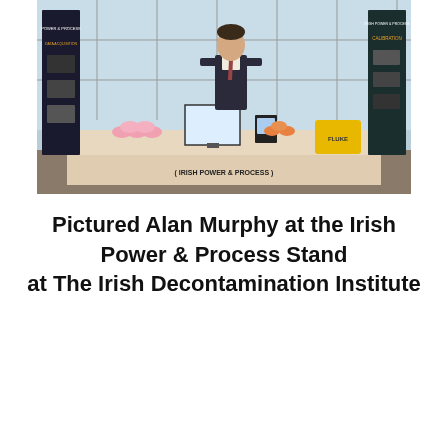[Figure (photo): A man in a business suit standing behind an exhibition table covered with a white tablecloth branded 'Irish Power & Process'. The table has a monitor, small devices, and pink promotional items. Two branded pull-up banners flank the booth — one on the left showing 'Data Acquisition' and one on the right showing 'Calibration'. A yellow Fluke case is on the right side of the table.]
Pictured Alan Murphy at the Irish Power & Process Stand at The Irish Decontamination Institute